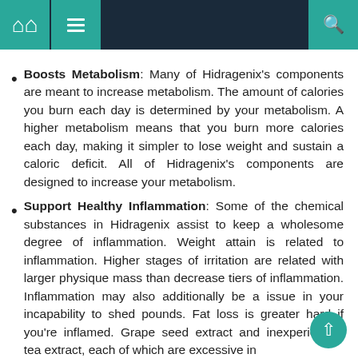Navigation bar with home, menu, and search icons
Boosts Metabolism: Many of Hidragenix’s components are meant to increase metabolism. The amount of calories you burn each day is determined by your metabolism. A higher metabolism means that you burn more calories each day, making it simpler to lose weight and sustain a caloric deficit. All of Hidragenix’s components are designed to increase your metabolism.
Support Healthy Inflammation: Some of the chemical substances in Hidragenix assist to keep a wholesome degree of inflammation. Weight attain is related to inflammation. Higher stages of irritation are related with larger physique mass than decrease tiers of inflammation. Inflammation may also additionally be a issue in your incapability to shed pounds. Fat loss is greater hard if you’re inflamed. Grape seed extract and inexperienced tea extract, each of which are excessive in